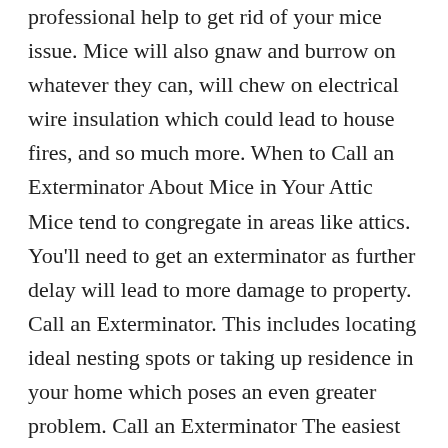professional help to get rid of your mice issue. Mice will also gnaw and burrow on whatever they can, will chew on electrical wire insulation which could lead to house fires, and so much more. When to Call an Exterminator About Mice in Your Attic Mice tend to congregate in areas like attics. You'll need to get an exterminator as further delay will lead to more damage to property. Call an Exterminator. This includes locating ideal nesting spots or taking up residence in your home which poses an even greater problem. Call an Exterminator The easiest and most effective way to take care of mice in your home is to bring in a pest professional. Not all exterminators offer the same quality of service. This is especially true when droppings are seen close to these scattered nesting materials. As such, the presence of an